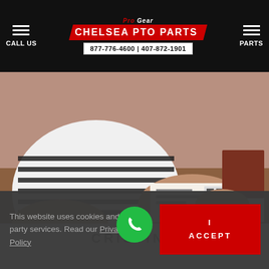CALL US | Pro Gear CHELSEA PTO PARTS | 877-776-4600 | 407-872-1901 | PARTS
[Figure (photo): Person wearing a white and black striped shirt sitting at a desk, writing or reviewing documents with papers visible on the desk.]
CRISTINA
This website uses cookies and third party services. Read our Privacy Policy
I ACCEPT